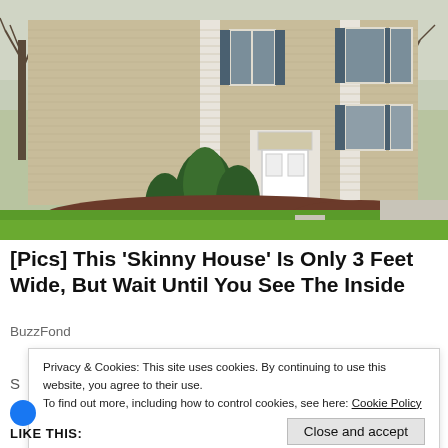[Figure (photo): Exterior photo of a two-story beige/tan colonial-style house with white trim, white front door with decorative transom window, dark blue shutters, ornamental evergreen shrubs flanking the entrance, green lawn, concrete walkway, and bare trees in the background on an overcast spring day.]
[Pics] This 'Skinny House' Is Only 3 Feet Wide, But Wait Until You See The Inside
BuzzFond
Privacy & Cookies: This site uses cookies. By continuing to use this website, you agree to their use.
To find out more, including how to control cookies, see here: Cookie Policy
Close and accept
LIKE THIS: